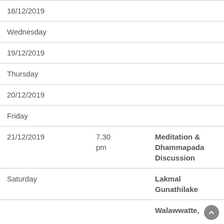| Date | Time | Event |
| --- | --- | --- |
| 18/12/2019 |  |  |
| Wednesday |  |  |
| 19/12/2019 |  |  |
| Thursday |  |  |
| 20/12/2019 |  |  |
| Friday |  |  |
| 21/12/2019 | 7.30 pm | Meditation & Dhammapada Discussion |
| Saturday |  | Lakmal Gunathilake |
|  |  | Walawwatte, |